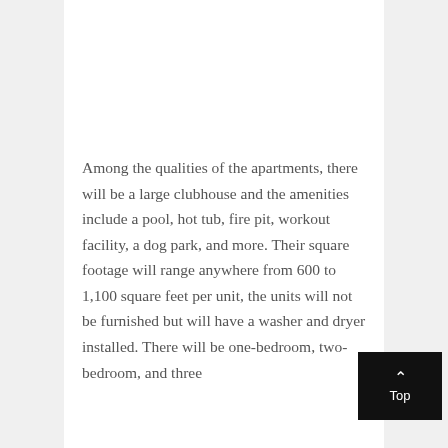Among the qualities of the apartments, there will be a large clubhouse and the amenities include a pool, hot tub, fire pit, workout facility, a dog park, and more. Their square footage will range anywhere from 600 to 1,100 square feet per unit, the units will not be furnished but will have a washer and dryer installed. There will be one-bedroom, two-bedroom, and three